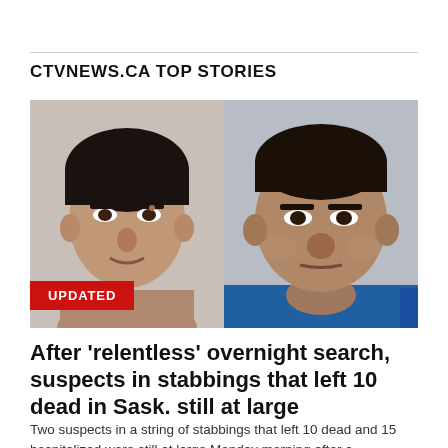CTVNEWS.CA TOP STORIES
[Figure (photo): Side-by-side mugshot-style photos of two male suspects, with a red UPDATED badge overlaid at the bottom-left of the image and a blue vertical bar at the bottom-right.]
After 'relentless' overnight search, suspects in stabbings that left 10 dead in Sask. still at large
Two suspects in a string of stabbings that left 10 dead and 15 hospitalized were still at large Monday morning after a 'relentless' search overnight, according to